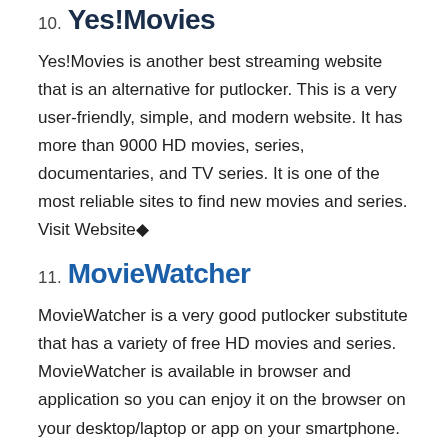10. Yes!Movies
Yes!Movies is another best streaming website that is an alternative for putlocker. This is a very user-friendly, simple, and modern website. It has more than 9000 HD movies, series, documentaries, and TV series. It is one of the most reliable sites to find new movies and series. Visit Website◆
11. MovieWatcher
MovieWatcher is a very good putlocker substitute that has a variety of free HD movies and series. MovieWatcher is available in browser and application so you can enjoy it on the browser on your desktop/laptop or app on your smartphone. The playlist and library are